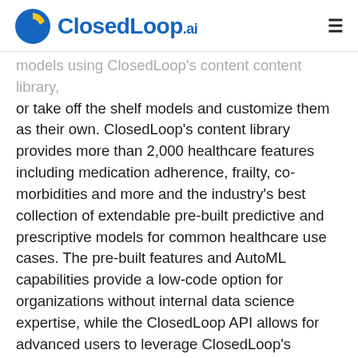ClosedLoop.ai
models using ClosedLoop's content content library, or take off the shelf models and customize them as their own. ClosedLoop's content library provides more than 2,000 healthcare features including medication adherence, frailty, co-morbidities and more and the industry's best collection of extendable pre-built predictive and prescriptive models for common healthcare use cases. The pre-built features and AutoML capabilities provide a low-code option for organizations without internal data science expertise, while the ClosedLoop API allows for advanced users to leverage ClosedLoop's capabilities within the tools they already use such as Python and Jupyter Notebooks.